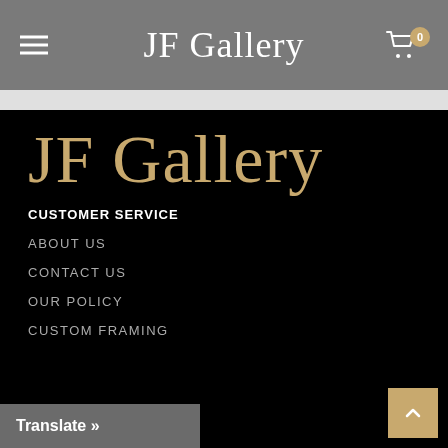JF Gallery
JF Gallery
CUSTOMER SERVICE
ABOUT US
CONTACT US
OUR POLICY
CUSTOM FRAMING
Translate »